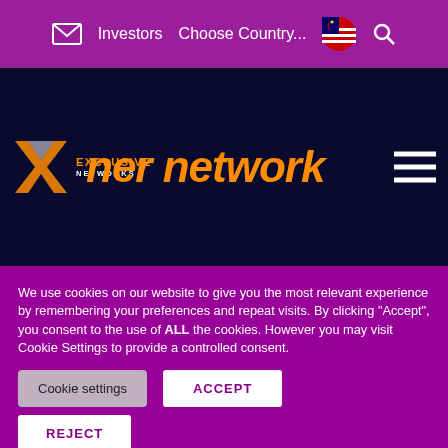Investors  Choose Country...  [Malaysia flag]  [Search icon]
[Figure (logo): Exclusive Networks logo with orange stylized icon and white text on dark navy background, overlaid with large orange italic text 'partner network']
We use cookies on our website to give you the most relevant experience by remembering your preferences and repeat visits. By clicking “Accept”, you consent to the use of ALL the cookies. However you may visit Cookie Settings to provide a controlled consent.
Cookie settings  ACCEPT  REJECT